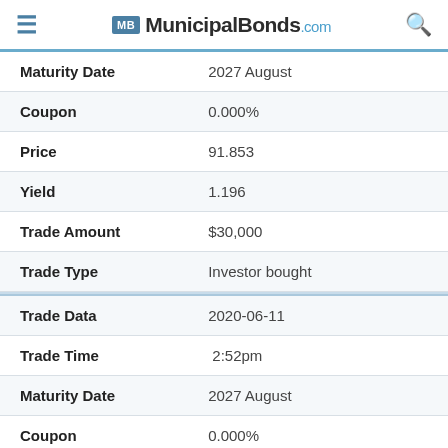MunicipalBonds.com
| Field | Value |
| --- | --- |
| Maturity Date | 2027 August |
| Coupon | 0.000% |
| Price | 91.853 |
| Yield | 1.196 |
| Trade Amount | $30,000 |
| Trade Type | Investor bought |
| Trade Data | 2020-06-11 |
| Trade Time | 2:52pm |
| Maturity Date | 2027 August |
| Coupon | 0.000% |
| Price | 90.853 |